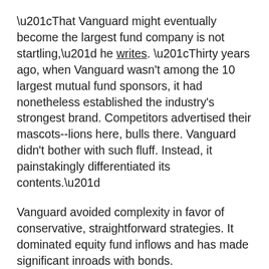“That Vanguard might eventually become the largest fund company is not startling,” he writes. “Thirty years ago, when Vanguard wasn’t among the 10 largest mutual fund sponsors, it had nonetheless established the industry’s strongest brand. Competitors advertised their mascots--lions here, bulls there. Vanguard didn’t bother with such fluff. Instead, it painstakingly differentiated its contents.”
Vanguard avoided complexity in favor of conservative, straightforward strategies. It dominated equity fund inflows and has made significant inroads with bonds.
“The struggles of actively run funds that had made grand promises highlighted the virtues of Vanguard’s comparatively modest approach,” John notes. “Bland became fashionable.”